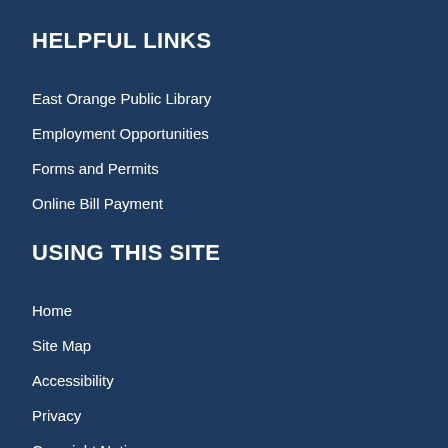HELPFUL LINKS
East Orange Public Library
Employment Opportunities
Forms and Permits
Online Bill Payment
USING THIS SITE
Home
Site Map
Accessibility
Privacy
Copyright Notices